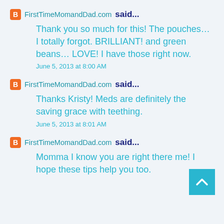FirstTimeMomandDad.com said...
Thank you so much for this! The pouches… I totally forgot. BRILLIANT! and green beans… LOVE! I have those right now.
June 5, 2013 at 8:00 AM
FirstTimeMomandDad.com said...
Thanks Kristy! Meds are definitely the saving grace with teething.
June 5, 2013 at 8:01 AM
FirstTimeMomandDad.com said...
Momma I know you are right there me! I hope these tips help you too.